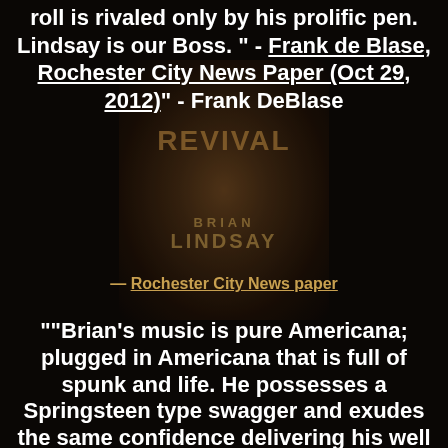roll is rivaled only by his prolific pen. Lindsay is our Boss." - Frank de Blase, Rochester City News Paper (Oct 29, 2012)" - Frank DeBlase
[Figure (photo): Sepia-toned album cover for Brian Lindsay 'Revival' showing a partial figure, with album title 'REVIVAL' and artist name 'BRIAN LINDSAY']
— Rochester City News paper
""Brian's music is pure Americana; plugged in Americana that is full of spunk and life. He possesses a Springsteen type swagger and exudes the same confidence delivering his well crafted tunes with guitars blazing." - Don Zelazny, Americana Roots" - Don